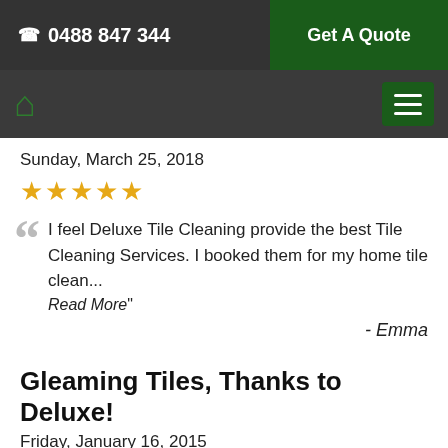☎ 0488 847 344 | Get A Quote
Home (nav) | Hamburger menu
Sunday, March 25, 2018
★★★★★
"I feel Deluxe Tile Cleaning provide the best Tile Cleaning Services. I booked them for my home tile clean… Read More"
- Emma
Gleaming Tiles, Thanks to Deluxe!
Friday, January 16, 2015
★★★★★